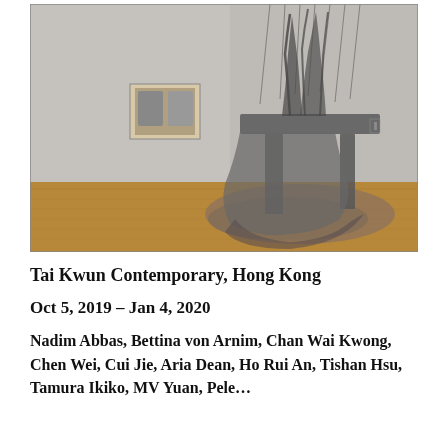[Figure (photo): Gallery installation photo showing a large sculptural artwork made of cascading chains or small metal pieces, forming a table-like structure with material spilling onto the floor. A framed artwork hangs on the back wall to the left. The gallery has white walls and a warm wooden floor.]
Tai Kwun Contemporary, Hong Kong
Oct 5, 2019 – Jan 4, 2020
Nadim Abbas, Bettina von Arnim, Chan Wai Kwong, Chen Wei, Cui Jie, Aria Dean, Ho Rui An, Tishan Hsu, Tamura Ikiko, MV Yuan, Pele…